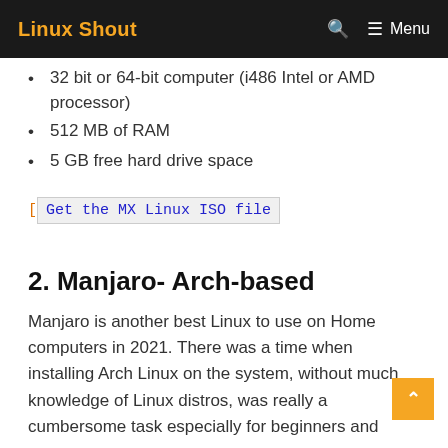Linux Shout | Menu
32 bit or 64-bit computer (i486 Intel or AMD processor)
512 MB of RAM
5 GB free hard drive space
[Get the MX Linux ISO file
2. Manjaro- Arch-based
Manjaro is another best Linux to use on Home computers in 2021. There was a time when installing Arch Linux on the system, without much knowledge of Linux distros, was really a cumbersome task especially for beginners and